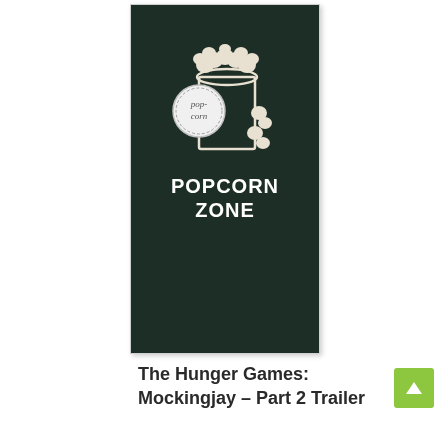[Figure (photo): Dark green/black background with a white illustrated popcorn bucket graphic and 'POPCORN ZONE' text in bold white letters. A circular badge overlay reads 'pop-corn'.]
The Hunger Games: Mockingjay – Part 2 Trailer